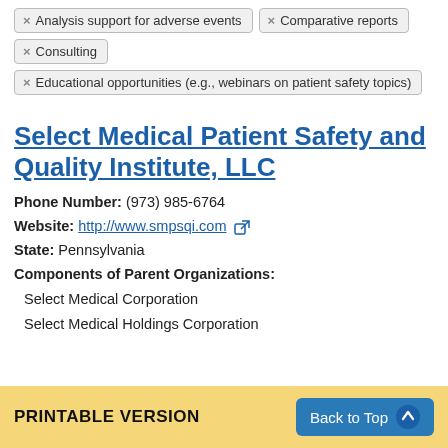× Analysis support for adverse events
× Comparative reports
× Consulting
× Educational opportunities (e.g., webinars on patient safety topics)
Select Medical Patient Safety and Quality Institute, LLC
Phone Number: (973) 985-6764
Website: http://www.smpsqi.com
State: Pennsylvania
Components of Parent Organizations:
Select Medical Corporation
Select Medical Holdings Corporation
PRINTABLE VERSION   Back to Top